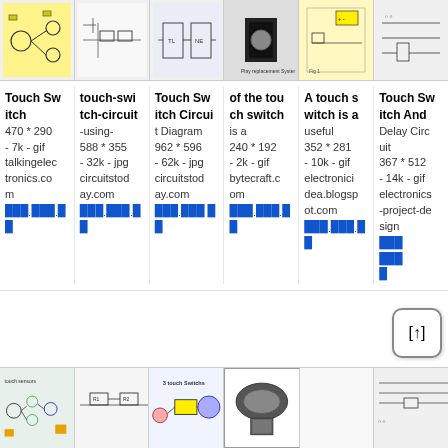[Figure (screenshot): Row of 6 touch switch circuit diagram thumbnail images]
Touch Switch 470 * 290 - 7k - gif talkingelec tronics.co m [link]
touch-switch-circuit-using- 588 * 355 - 32k - jpg circuitstoday.com [link]
Touch Switch Circuit Diagram 962 * 596 - 62k - jpg circuitstoday.com [link]
of the touch switch is a 240 * 192 - 2k - gif bytecraft.com [link]
A touch switch is a useful 352 * 281 - 10k - gif electronicidea.blogspot.com [link]
Touch Switch And Delay Circuit 367 * 512 - 14k - gif electronics-project-design [link]
[Figure (screenshot): Row of 5 touch switch circuit diagram thumbnail images at bottom of page]